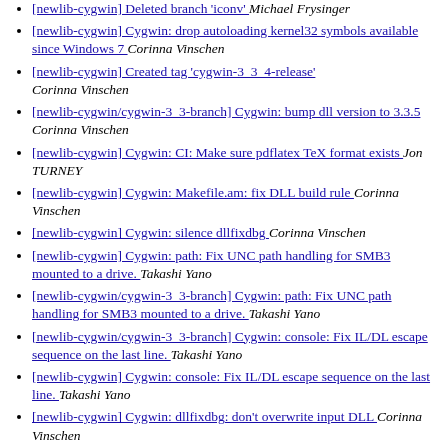[newlib-cygwin] Deleted branch 'iconv'  Michael Frysinger
[newlib-cygwin] Cygwin: drop autoloading kernel32 symbols available since Windows 7  Corinna Vinschen
[newlib-cygwin] Created tag 'cygwin-3_3_4-release'  Corinna Vinschen
[newlib-cygwin/cygwin-3_3-branch] Cygwin: bump dll version to 3.3.5  Corinna Vinschen
[newlib-cygwin] Cygwin: CI: Make sure pdflatex TeX format exists  Jon TURNEY
[newlib-cygwin] Cygwin: Makefile.am: fix DLL build rule  Corinna Vinschen
[newlib-cygwin] Cygwin: silence dllfixdbg  Corinna Vinschen
[newlib-cygwin] Cygwin: path: Fix UNC path handling for SMB3 mounted to a drive.  Takashi Yano
[newlib-cygwin/cygwin-3_3-branch] Cygwin: path: Fix UNC path handling for SMB3 mounted to a drive.  Takashi Yano
[newlib-cygwin/cygwin-3_3-branch] Cygwin: console: Fix IL/DL escape sequence on the last line.  Takashi Yano
[newlib-cygwin] Cygwin: console: Fix IL/DL escape sequence on the last line.  Takashi Yano
[newlib-cygwin] Cygwin: dllfixdbg: don't overwrite input DLL  Corinna Vinschen
[newlib-cygwin] Cygwin: dllfixdbg: honor Makefile